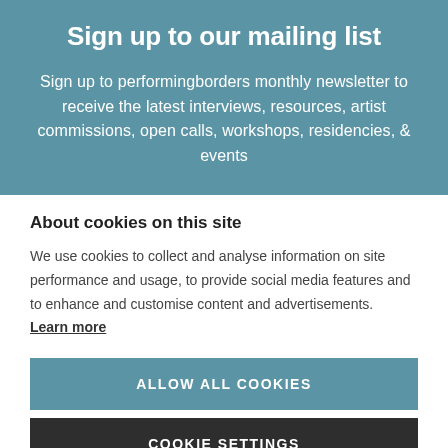Sign up to our mailing list
Sign up to performingborders monthly newsletter to receive the latest interviews, resources, artist commissions, open calls, workshops, residencies, & events
About cookies on this site
We use cookies to collect and analyse information on site performance and usage, to provide social media features and to enhance and customise content and advertisements. Learn more
ALLOW ALL COOKIES
COOKIE SETTINGS